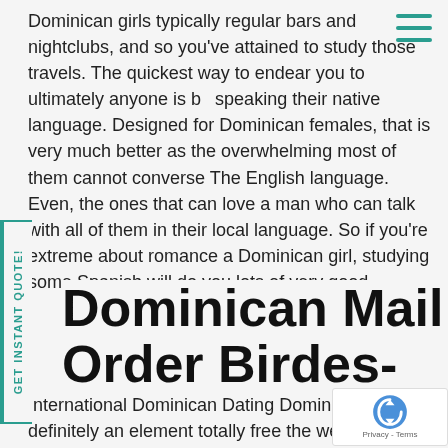Dominican girls typically regular bars and nightclubs, and so you've attained to study those travels. The quickest way to endear you to ultimately anyone is by speaking their native language. Designed for Dominican females, that is very much better as the overwhelming most of them cannot converse The English language. Even, the ones that can love a man who can talk with all of them in their local language. So if you're extreme about romance a Dominican girl, studying some Spanish will do you lots of very good.
Dominican Mail Order Birdes-to-be & Seeing Websites 2021
International Dominican Dating DominicanCupid is definitely an element totally free the well-researched